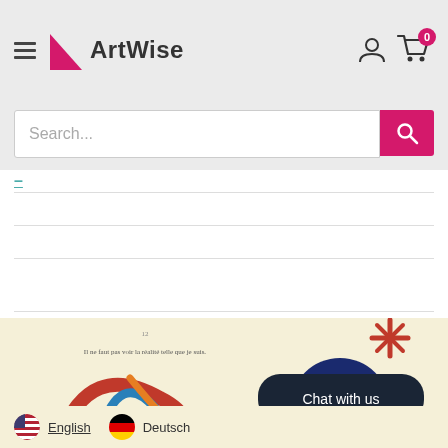ArtWise - navigation header with hamburger menu, logo, account icon, cart icon (0 items)
Search...
-
[Figure (illustration): Partial view of an illustrated book page with colorful abstract artwork (red, blue, orange curves) on cream background. French text: 'Il ne faut pas voir la réalité telle que je suis.' Red decorative flower/star element and dark blue rounded shape visible on right side.]
Chat with us
English  Deutsch